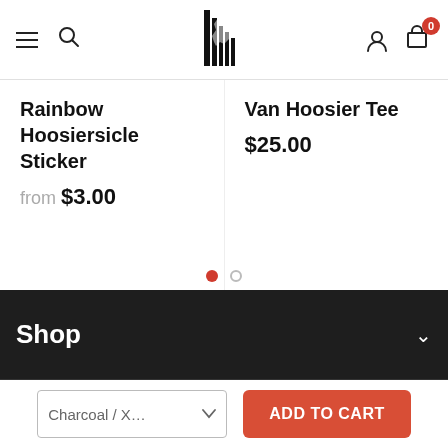Navigation bar with hamburger menu, search, logo, user icon, cart (0)
Rainbow Hoosiersicle Sticker
from $3.00
Van Hoosier Tee
$25.00
[Figure (other): Carousel pagination dots: one filled red dot and one empty circle]
Shop
Charcoal / X…  ADD TO CART